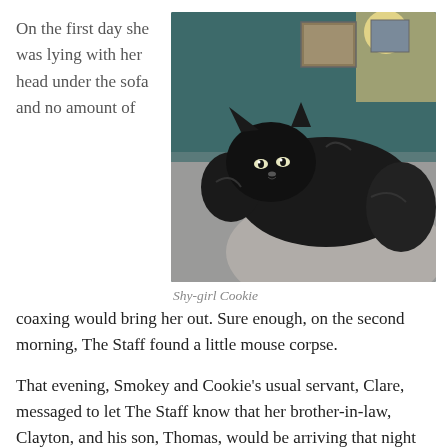On the first day she was lying with her head under the sofa and no amount of
[Figure (photo): A fluffy black cat lying on a person's shoulder/back, looking at the camera with bright eyes. Room background visible.]
Shy-girl Cookie
coaxing would bring her out. Sure enough, on the second morning, The Staff found a little mouse corpse.
That evening, Smokey and Cookie's usual servant, Clare, messaged to let The Staff know that her brother-in-law, Clayton, and his son, Thomas, would be arriving that night to